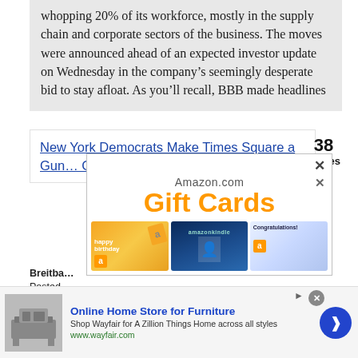whopping 20% of its workforce, mostly in the supply chain and corporate sectors of the business. The moves were announced ahead of an expected investor update on Wednesday in the company's seemingly desperate bid to stay afloat. As you'll recall, BBB made headlines
New York Democrats Make Times Square a Gun-Free Zone, Con... Perm...
38 replies
[Figure (other): Amazon.com Gift Cards advertisement popup showing three gift card images: happy birthday, amazon kindle, and Congratulations cards. Has a close (x) button.]
Breitba...
Posted...
[Figure (other): Wayfair advertisement banner: Online Home Store for Furniture. Shop Wayfair for A Zillion Things Home across all styles. www.wayfair.com. Shows furniture image on left and a blue arrow button on right. Has an X close button.]